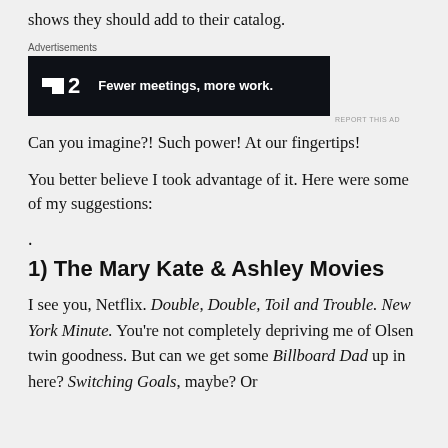shows they should add to their catalog.
[Figure (other): Advertisement banner: Fewer meetings, more work. Logo showing F2 on dark background.]
Can you imagine?! Such power! At our fingertips!
You better believe I took advantage of it. Here were some of my suggestions:
.
1) The Mary Kate & Ashley Movies
I see you, Netflix. Double, Double, Toil and Trouble. New York Minute. You’re not completely depriving me of Olsen twin goodness. But can we get some Billboard Dad up in here? Switching Goals, maybe? Or